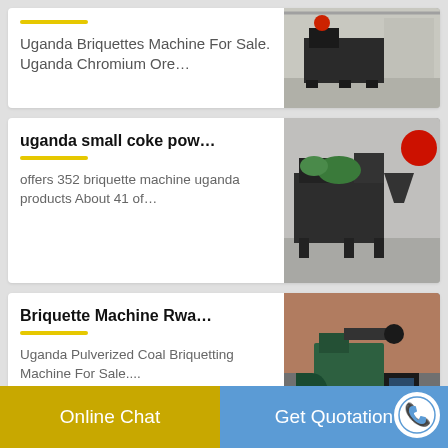Uganda Briquettes Machine For Sale. Uganda Chromium Ore…
[Figure (photo): Industrial briquette machine in a factory setting]
uganda small coke pow…
offers 352 briquette machine uganda products About 41 of…
[Figure (photo): Small coke powder briquette machine in factory]
Briquette Machine Rwa…
Uganda Pulverized Coal Briquetting Machine For Sale....
[Figure (photo): Briquette machine Rwanda, industrial green machinery]
Online Chat   Get Quotation